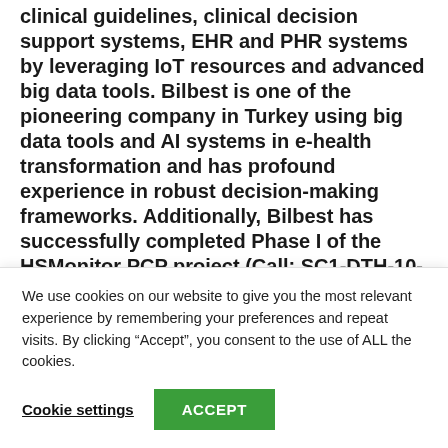clinical guidelines, clinical decision support systems, EHR and PHR systems by leveraging IoT resources and advanced big data tools. Bilbest is one of the pioneering company in Turkey using big data tools and AI systems in e-health transformation and has profound experience in robust decision-making frameworks. Additionally, Bilbest has successfully completed Phase I of the HSMonitor PCP project (Call: SC1-DTH-10-2019-2020), which was for innovative ICT-enabled monitoring to improve health status and optimise
We use cookies on our website to give you the most relevant experience by remembering your preferences and repeat visits. By clicking “Accept”, you consent to the use of ALL the cookies.
Cookie settings
ACCEPT